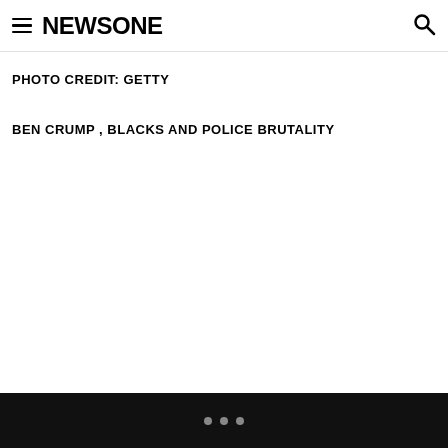NEWSONE
PHOTO CREDIT: Getty
BEN CRUMP , BLACKS AND POLICE BRUTALITY
• • •